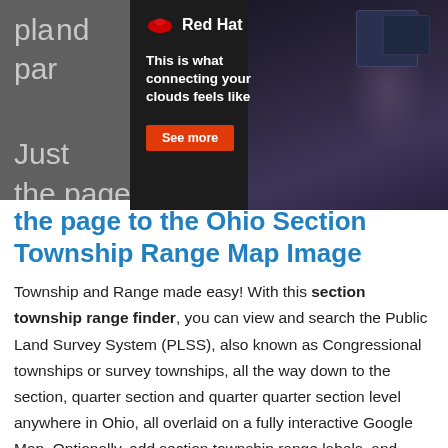pla... nd par...
[Figure (screenshot): Red Hat advertisement overlay showing Red Hat logo, tagline 'This is what connecting your clouds feels like', a 'See more' button, and a background photo of a person at a computer with raised arm.]
Just... wn the page to the Ohio Section Township Range Map Image
Ohio Section Township Range Map Image
Township and Range made easy! With this section township range finder, you can view and search the Public Land Survey System (PLSS), also known as Congressional townships or survey townships, all the way down to the section, quarter section and quarter quarter section level anywhere in Ohio, all overlaid on a fully interactive Google Map. Optionally, add section township range labels, and overlay